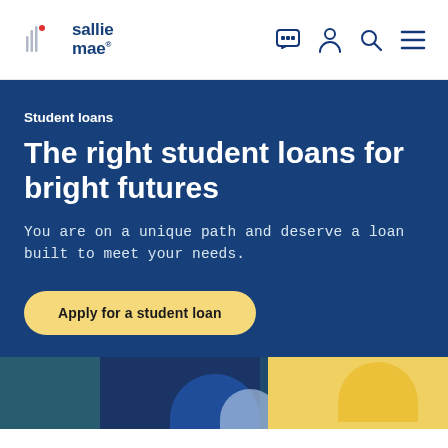[Figure (logo): Sallie Mae logo with vertical bar lines and brand name]
[Figure (infographic): Navigation icons: chat/message icon, person/account icon, search icon, hamburger menu icon]
Student loans
The right student loans for bright futures
You are on a unique path and deserve a loan built to meet your needs.
[Figure (other): Yellow pill-shaped button with text 'Apply for a student loan']
[Figure (photo): Bottom portion showing blurred photo of student, with teal/blue on left and yellow on right background]